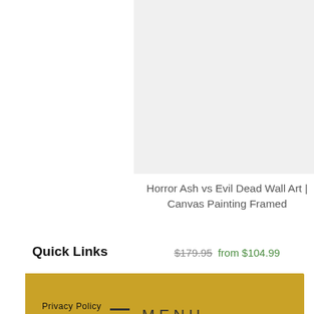[Figure (photo): Product image placeholder area (light gray background) for Horror Ash vs Evil Dead Wall Art canvas painting]
Horror Ash vs Evil Dead Wall Art | Canvas Painting Framed
$179.95  from $104.99
Add to cart
Strang... C...
Quick Links
MENU
Privacy Policy